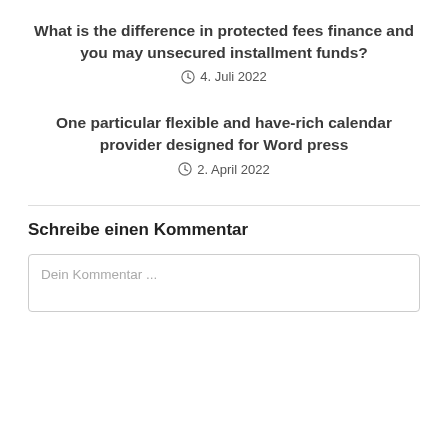What is the difference in protected fees finance and you may unsecured installment funds?
4. Juli 2022
One particular flexible and have-rich calendar provider designed for Word press
2. April 2022
Schreibe einen Kommentar
Dein Kommentar ...